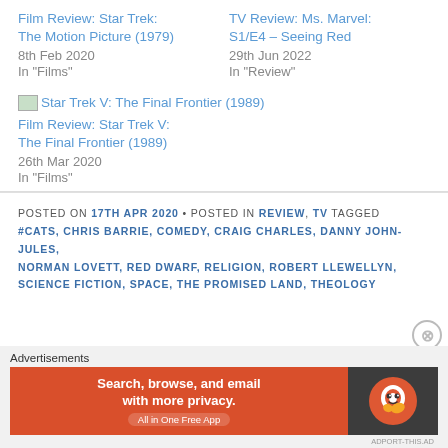Film Review: Star Trek: The Motion Picture (1979)
8th Feb 2020
In "Films"
TV Review: Ms. Marvel: S1/E4 – Seeing Red
29th Jun 2022
In "Review"
[Figure (thumbnail): Small image thumbnail for Star Trek V: The Final Frontier (1989)]
Film Review: Star Trek V: The Final Frontier (1989)
26th Mar 2020
In "Films"
POSTED ON 17TH APR 2020 • POSTED IN REVIEW, TV TAGGED #CATS, CHRIS BARRIE, COMEDY, CRAIG CHARLES, DANNY JOHN-JULES, NORMAN LOVETT, RED DWARF, RELIGION, ROBERT LLEWELLYN, SCIENCE FICTION, SPACE, THE PROMISED LAND, THEOLOGY
Advertisements
[Figure (screenshot): DuckDuckGo advertisement banner: orange left side with text 'Search, browse, and email with more privacy. All in One Free App', dark right side with DuckDuckGo logo]